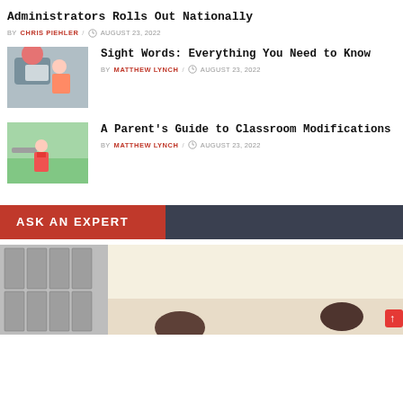Administrators Rolls Out Nationally
BY CHRIS PIEHLER / AUGUST 23, 2022
[Figure (photo): Woman holding child looking at tablet]
Sight Words: Everything You Need to Know
BY MATTHEW LYNCH / AUGUST 23, 2022
[Figure (photo): Child with backpack walking outdoors]
A Parent's Guide to Classroom Modifications
BY MATTHEW LYNCH / AUGUST 23, 2022
ASK AN EXPERT
[Figure (photo): School hallway with lockers and students]